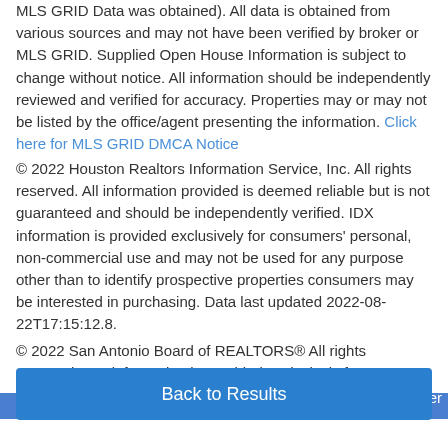MLS GRID Data was obtained). All data is obtained from various sources and may not have been verified by broker or MLS GRID. Supplied Open House Information is subject to change without notice. All information should be independently reviewed and verified for accuracy. Properties may or may not be listed by the office/agent presenting the information. Click here for MLS GRID DMCA Notice
© 2022 Houston Realtors Information Service, Inc. All rights reserved. All information provided is deemed reliable but is not guaranteed and should be independently verified. IDX information is provided exclusively for consumers' personal, non-commercial use and may not be used for any purpose other than to identify prospective properties consumers may be interested in purchasing. Data last updated 2022-08-22T17:15:12.8.
© 2022 San Antonio Board of REALTORS® All rights reserved. IDX information is provided exclusively for consumers' personal, non-commercial use and may not be used for any purpose other than to...
Back to Results